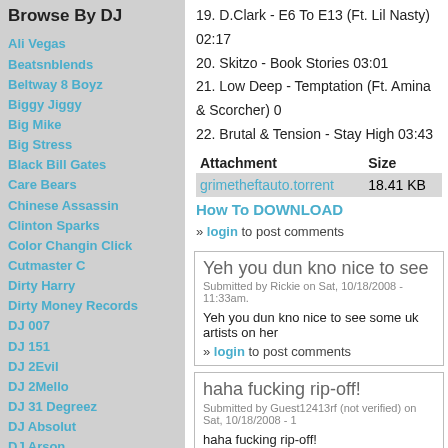Browse By DJ
Ali Vegas
Beatsnblends
Beltway 8 Boyz
Biggy Jiggy
Big Mike
Big Stress
Black Bill Gates
Care Bears
Chinese Assassin
Clinton Sparks
Color Changin Click
Cutmaster C
Dirty Harry
Dirty Money Records
DJ 007
DJ 151
DJ 2Evil
DJ 2Mello
DJ 31 Degreez
DJ Absolut
DJ Arson
DJ Artillary
DJ Bape
DJ Bedz
DJ Benzi
DJ Berocke
DJ Barry Bee
DJ BeyondReset
DJ Big Tobacco
DJ Biz
DJ Black Jesus
19. D.Clark - E6 To E13 (Ft. Lil Nasty) 02:17
20. Skitzo - Book Stories 03:01
21. Low Deep - Temptation (Ft. Amina & Scorcher) 0
22. Brutal & Tension - Stay High 03:43
| Attachment | Size |
| --- | --- |
| grimetheftauto.torrent | 18.41 KB |
How To DOWNLOAD
» login to post comments
Yeh you dun kno nice to see
Submitted by Rickie on Sat, 10/18/2008 - 11:33am.
Yeh you dun kno nice to see some uk artists on her
» login to post comments
haha fucking rip-off!
Submitted by Guest12413rf (not verified) on Sat, 10/18/2008 - 1
haha fucking rip-off!
» login to post comments
Grime Theft Audio or Grand The
Submitted by Chiz Prince Renegade (not verified) on Sat,